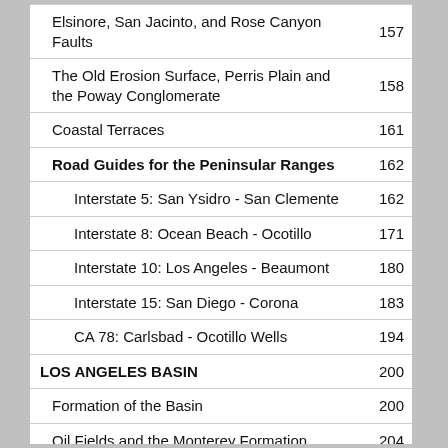| Topic | Page |
| --- | --- |
| Elsinore, San Jacinto, and Rose Canyon Faults | 157 |
| The Old Erosion Surface, Perris Plain and the Poway Conglomerate | 158 |
| Coastal Terraces | 161 |
| Road Guides for the Peninsular Ranges | 162 |
| Interstate 5: San Ysidro - San Clemente | 162 |
| Interstate 8: Ocean Beach - Ocotillo | 171 |
| Interstate 10: Los Angeles - Beaumont | 180 |
| Interstate 15: San Diego - Corona | 183 |
| CA 78: Carlsbad - Ocotillo Wells | 194 |
| LOS ANGELES BASIN | 200 |
| Formation of the Basin | 200 |
| Oil Fields and the Monterey Formation | 204 |
| Long Beach Oil Field and Signal Hill | 205 |
| Baldwin Hills and Inglewood Oil Field | 207 |
| Huntington Beach Oil Field | 208 |